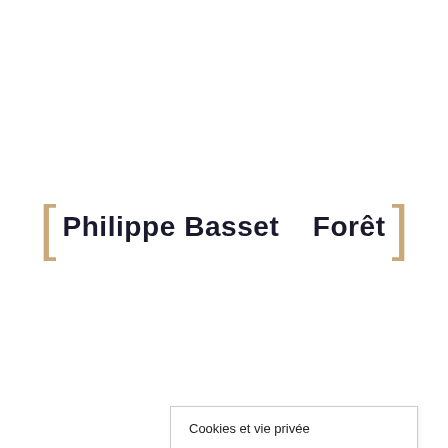Philippe Basset    Forêt
Cookies et vie privée